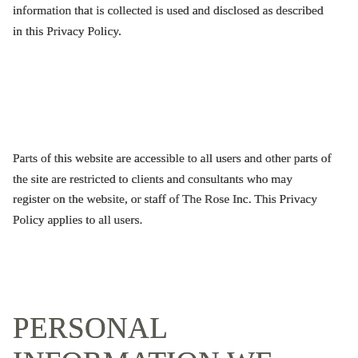information that is collected is used and disclosed as described in this Privacy Policy.
Parts of this website are accessible to all users and other parts of the site are restricted to clients and consultants who may register on the website, or staff of The Rose Inc. This Privacy Policy applies to all users.
PERSONAL INFORMATION WE MAY COLLECT
TheRoseIM.com may collect and use your personal information to deliver